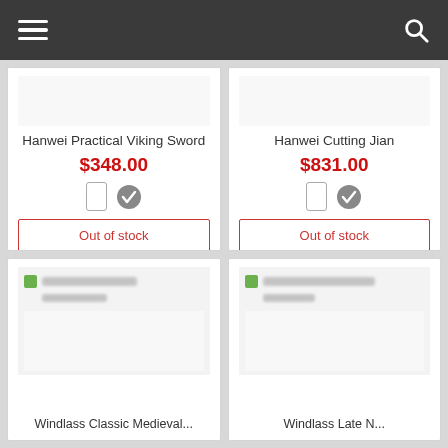Navigation bar with hamburger menu and search icon
Hanwei Practical Viking Sword
$348.00
Out of stock
Hanwei Cutting Jian
$831.00
Out of stock
[Figure (screenshot): Blurred product listing thumbnail for bottom-left product card]
Windlass Classic Medieval...
[Figure (screenshot): Blurred product listing thumbnail for bottom-right product card]
Windlass Late N...